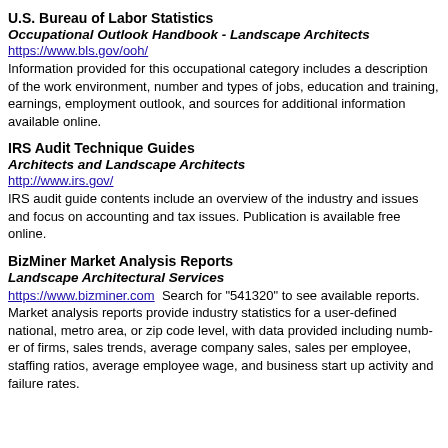U.S. Bureau of Labor Statistics
Occupational Outlook Handbook - Landscape Architects
https://www.bls.gov/ooh/
Information provided for this occupational category includes a description of the work environment, number and types of jobs, education and training, earnings, employment outlook, and sources for additional information available online.
IRS Audit Technique Guides
Architects and Landscape Architects
http://www.irs.gov/
IRS audit guide contents include an overview of the industry and issues and focus on accounting and tax issues. Publication is available free online.
BizMiner Market Analysis Reports
Landscape Architectural Services
https://www.bizminer.com  Search for "541320" to see available reports. Market analysis reports provide industry statistics for a user-defined national, metro area, or zip code level, with data provided including number of firms, sales trends, average company sales, sales per employee, staffing ratios, average employee wage, and business start up activity and failure rates.